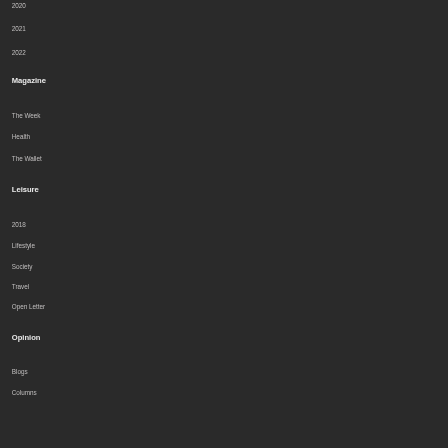2020
2021
2022
Magazine
The Week
Health
The Wallet
Leisure
2018
Lifestyle
Society
Travel
Open Letter
Opinion
Blogs
Columns